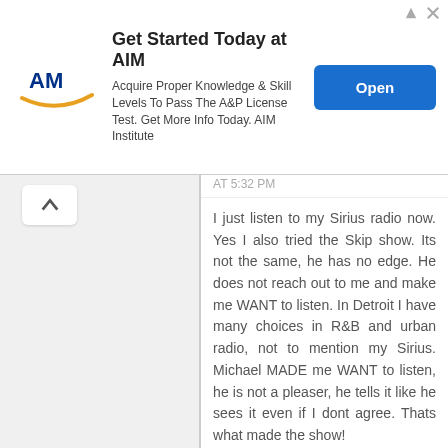[Figure (screenshot): Advertisement banner for AIM Institute. Shows AIM logo, headline 'Get Started Today at AIM', body text 'Acquire Proper Knowledge & Skill Levels To Pass The A&P License Test. Get More Info Today. AIM Institute', and a blue 'Open' button.]
AT 5:32 PM
I just listen to my Sirius radio now. Yes I also tried the Skip show. Its not the same, he has no edge. He does not reach out to me and make me WANT to listen. In Detroit I have many choices in R&B and urban radio, not to mention my Sirius. Michael MADE me WANT to listen, he is not a pleaser, he tells it like he sees it even if I dont agree. Thats what made the show!